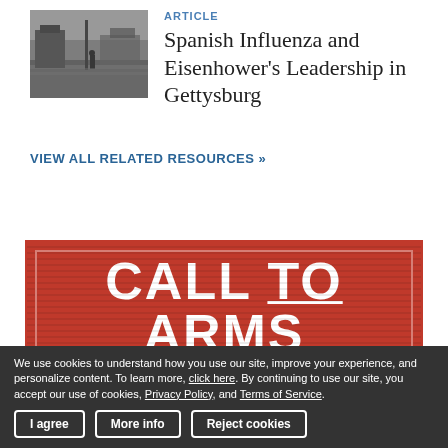ARTICLE
Spanish Influenza and Eisenhower's Leadership in Gettysburg
[Figure (photo): Black and white historical photograph of a flooded or muddy area with structures visible]
VIEW ALL RELATED RESOURCES »
[Figure (infographic): Red banner image reading CALL TO ARMS with striped background and white text]
Help Protect Five Key
We use cookies to understand how you use our site, improve your experience, and personalize content. To learn more, click here. By continuing to use our site, you accept our use of cookies, Privacy Policy, and Terms of Service.
I agree
More info
Reject cookies